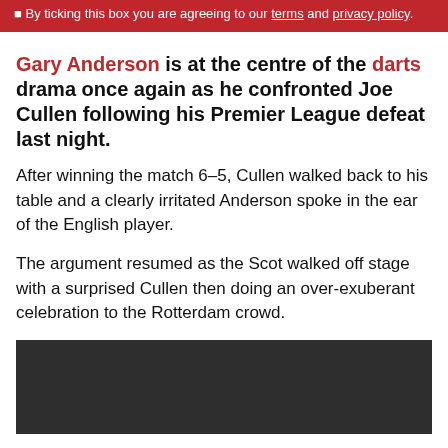By ticking this box you are agreeing to our terms and privacy policy.
Gary Anderson is at the centre of the darts drama once again as he confronted Joe Cullen following his Premier League defeat last night.
After winning the match 6-5, Cullen walked back to his table and a clearly irritated Anderson spoke in the ear of the English player.
The argument resumed as the Scot walked off stage with a surprised Cullen then doing an over-exuberant celebration to the Rotterdam crowd.
[Figure (photo): Dark/partially visible image, likely a video or photo of the darts incident]